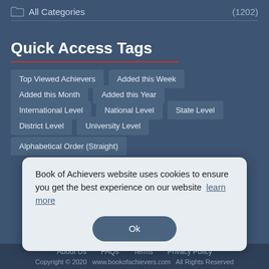All Categories (1202)
Quick Access Tags
Top Viewed Achievers
Added this Week
Added this Month
Added this Year
International Level
National Level
State Level
District Level
University Level
Alphabetical Order (Straight)
Book of Achievers website uses cookies to ensure you get the best experience on our website  learn more
About Us   FAQs   Terms   Privacy Policy
Copyright © 2020  www.bookofachievers.com  All Rights Reserved